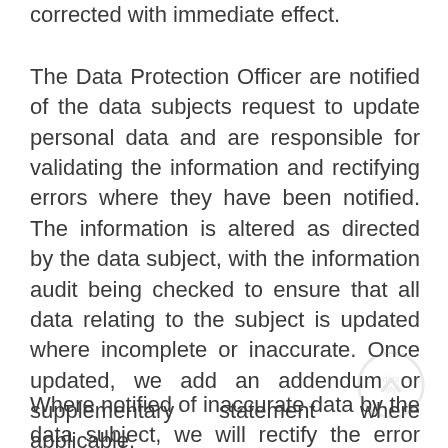corrected with immediate effect.
The Data Protection Officer are notified of the data subjects request to update personal data and are responsible for validating the information and rectifying errors where they have been notified. The information is altered as directed by the data subject, with the information audit being checked to ensure that all data relating to the subject is updated where incomplete or inaccurate. Once updated, we add an addendum or supplementary statement where applicable.
Where notified of inaccurate data by the data subject, we will rectify the error within 30 days and inform